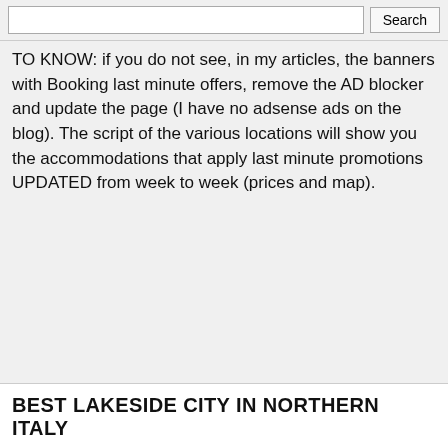TO KNOW: if you do not see, in my articles, the banners with Booking last minute offers, remove the AD blocker and update the page (I have no adsense ads on the blog). The script of the various locations will show you the accommodations that apply last minute promotions UPDATED from week to week (prices and map).
BEST LAKESIDE CITY IN NORTHERN ITALY